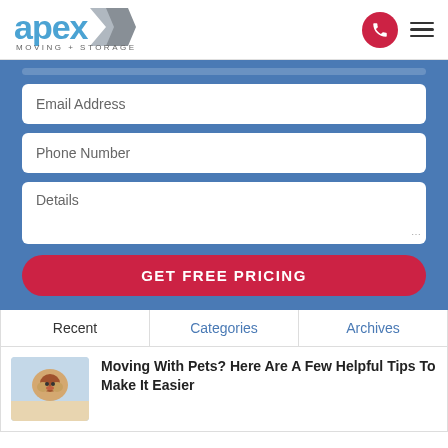[Figure (logo): Apex Moving + Storage logo with blue text and grey arrow chevron]
Email Address
Phone Number
Details
GET FREE PRICING
Recent	Categories	Archives
Moving With Pets? Here Are A Few Helpful Tips To Make It Easier